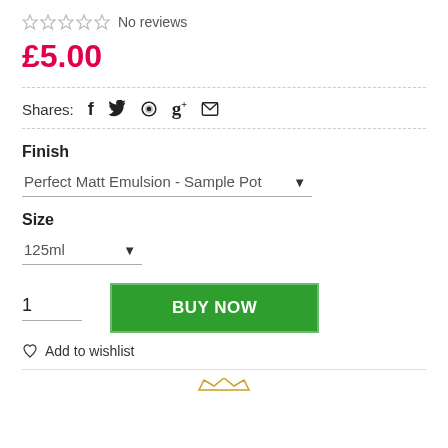☆☆☆☆☆ No reviews
£5.00
Shares: (social icons: Facebook, Twitter, Pinterest, Google+, Email)
Finish
Perfect Matt Emulsion - Sample Pot (dropdown)
Size
125ml (dropdown)
1 (quantity)
BUY NOW
Add to wishlist